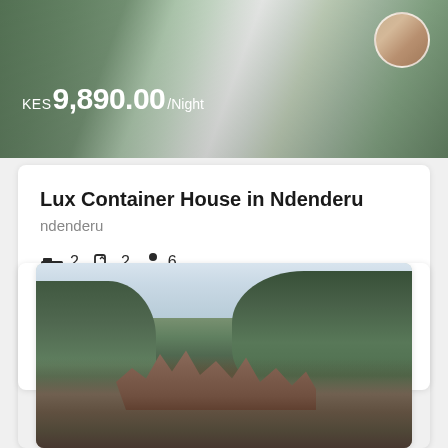[Figure (photo): Property listing photo showing a house exterior with white picket fence and greenery, price overlay KES 9,890.00/Night with circular thumbnail]
KES 9,890.00/Night
Lux Container House in Ndenderu
ndenderu
🛏 2   🛁 2   👤 6
[Figure (photo): Outdoor landscape photo showing ruins, rocks, and trees with overcast sky]